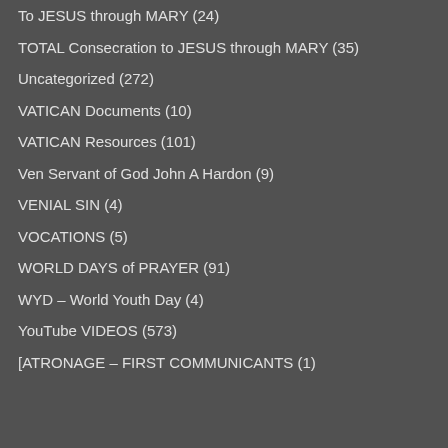To JESUS through MARY (24)
TOTAL Consecration to JESUS through MARY (35)
Uncategorized (272)
VATICAN Documents (10)
VATICAN Resources (101)
Ven Servant of God John A Hardon (9)
VENIAL SIN (4)
VOCATIONS (5)
WORLD DAYS of PRAYER (91)
WYD – World Youth Day (4)
YouTube VIDEOS (573)
[ATRONAGE – FIRST COMMUNICANTS (1)